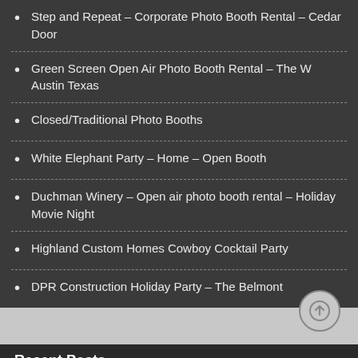Step and Repeat – Corporate Photo Booth Rental – Cedar Door
Green Screen Open Air Photo Booth Rental – The W Austin Texas
Closed/Traditional Photo Booths
White Elephant Party – Home – Open Booth
Duchman Winery – Open air photo booth rental – Holiday Movie Night
Highland Custom Homes Cowboy Cocktail Party
DPR Construction Holiday Party – The Belmont
Recent Posts